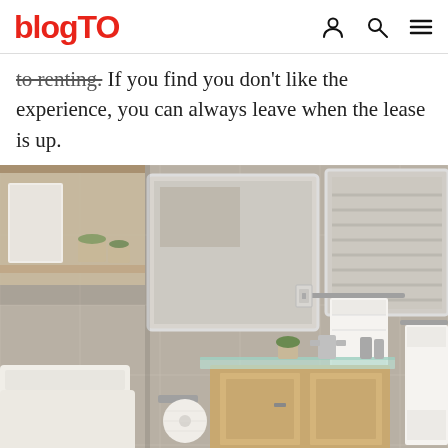blogTO
to renting. If you find you don't like the experience, you can always leave when the lease is up.
[Figure (photo): Interior bathroom photo showing a vanity with a glass countertop and chrome faucet, wall-mounted towel bars with white towels, a toilet, shelving with towels and plants, and large gray tile walls with mirrors.]